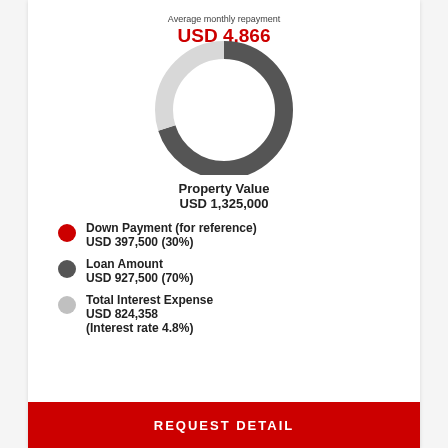[Figure (donut-chart): Average monthly repayment USD 4,866]
Average monthly repayment
USD 4,866
Property Value
USD 1,325,000
Down Payment (for reference)
USD 397,500 (30%)
Loan Amount
USD 927,500 (70%)
Total Interest Expense
USD 824,358
(Interest rate 4.8%)
REQUEST DETAIL